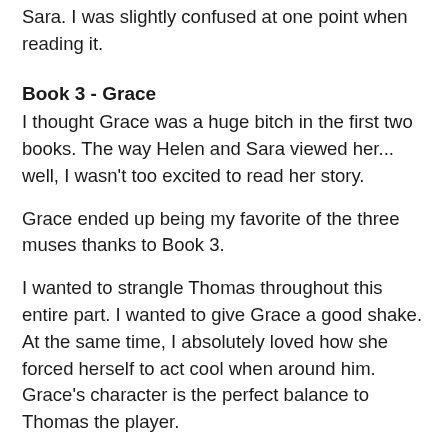Sara. I was slightly confused at one point when reading it.
Book 3 - Grace
I thought Grace was a huge bitch in the first two books. The way Helen and Sara viewed her... well, I wasn't too excited to read her story.
Grace ended up being my favorite of the three muses thanks to Book 3.
I wanted to strangle Thomas throughout this entire part. I wanted to give Grace a good shake. At the same time, I absolutely loved how she forced herself to act cool when around him. Grace's character is the perfect balance to Thomas the player.
I was so sad to finish this story! I'm also salivating for another story similar to this one, though I'm not entirely sure if there ever will be one like it. This read was definitely a new and fun experience for me. I've been contemplating whether